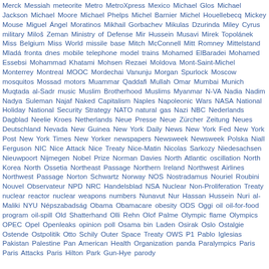Merck Messiah meteorite Metro MetroXpress Mexico Michael Glos Michael Jackson Michael Moore Michael Phelps Michel Barnier Michel Houellebecq Mickey Mouse Miguel Ángel Moratinos Mikhail Gorbachev Mikulas Dzurinda Miley Cyrus military Miloš Zeman Ministry of Defense Mir Hussein Musavi Mirek Topolánek Miss Belgium Miss World missile base Mitch McConnell Mitt Romney Mittelstand Mladá fronta dnes mobile telephone model trains Mohamed ElBaradei Mohamed Essebsi Mohammad Khatami Mohsen Rezaei Moldova Mont-Saint-Michel Monterrey Montreal MOOC Mordechai Vanunju Morgan Spurlock Moscow mosquitos Mossad motors Muammar Qaddafi Mullah Omar Mumbai Munich Muqtada al-Sadr music Muslim Brotherhood Muslims Myanmar N-VA Nadia Nadim Nadya Suleman Najaf Naked Capitalism Naples Napoleonic Wars NASA National Holiday National Security Strategy NATO natural gas Nazi NBC Nederlands Dagblad Neelie Kroes Netherlands Neue Presse Neue Zürcher Zeitung Neues Deutschland Nevada New Guinea New York Daily News New York Fed New York Post New York Times New Yorker newspapers Newsweek Newsweek Polska Niall Ferguson NIC Nice Attack Nice Treaty Nice-Matin Nicolas Sarkozy Niedesachsen Nieuwpoort Nijmegen Nobel Prize Norman Davies North Atlantic oscillation North Korea North Ossetia Northeast Passage Northern Ireland Northwest Airlines Northwest Passage Norton Schwartz Norway NOS Nostradamus Nouriel Roubini Nouvel Observateur NPD NRC Handelsblad NSA Nuclear Non-Proliferation Treaty nuclear reactor nuclear weapons numbers Nunavut Nur Hassan Hussein Nuri al-Maliki NYU Népszabadság Obama Obamacare obesity ODS Oggi oil oil-for-food program oil-spill Old Shatterhand Olli Rehn Olof Palme Olympic flame Olympics OPEC Opel Openleaks opinion poll Osama bin Laden Osirak Oslo Ostalgie Ostende Ostpolitik Otto Schily Outer Space Treaty OWS P1 Pablo Iglesias Pakistan Palestine Pan American Health Organization panda Paralympics Paris Paris Attacks Paris Hilton Park Gun-Hye parody